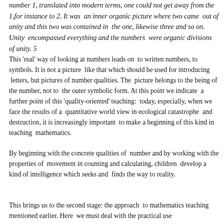number 1, translated into modern terms, one could not get away from the 1, for instance to 2. It was an inner organic picture where two came out of unity and this two was contained in the one, likewise three and so on. Unity encompassed everything and the numbers were organic divisions of unity. 5
This 'real' way of looking at numbers leads on to written numbers, to symbols. It is not a picture like that which should be used for introducing letters, but pictures of number qualities. The picture belongs to the being of the number, not to the outer symbolic form. At this point we indicate a further point of this 'quality-oriented' teaching: today, especially, when we face the results of a quantitative world view in ecological catastrophe and destruction, it is increasingly important to make a beginning of this kind in teaching mathematics.
By beginning with the concrete qualities of number and by working with the properties of movement in counting and calculating, children develop a kind of intelligence which seeks and finds the way to reality.
This brings us to the second stage: the approach to mathematics teaching mentioned earlier. Here we must deal with the practical use